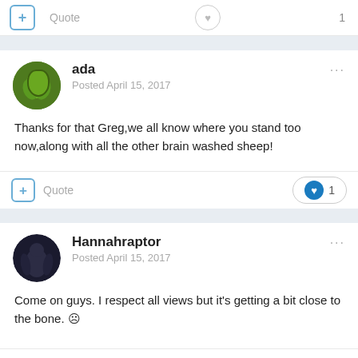+ Quote | ♥ 1
ada
Posted April 15, 2017
Thanks for that Greg,we all know where you stand too now,along with all the other brain washed sheep!
+ Quote | ♥ 1
Hannahraptor
Posted April 15, 2017
Come on guys. I respect all views but it's getting a bit close to the bone. ☹